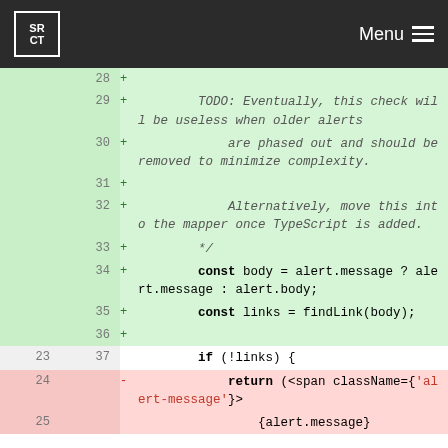SRCT Menu
Code diff viewer showing lines 28–37 added (green) and lines 23–25 context/removed (pink). Added lines include a TODO comment about phased-out alerts, const body = alert.message ? alert.message : alert.body, const links = findLink(body). Context line: if (!links) {. Removed line: return (<span className={'alert-message'}>
[Figure (screenshot): Code diff screenshot showing added lines (green background) with line numbers 28-36 on the right, and context/removed lines. Added code includes a TODO comment block and JavaScript const declarations. A removed line shows JSX return statement with className={'alert-message'}.]